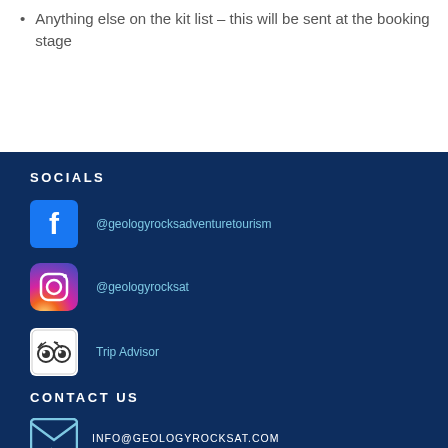Anything else on the kit list - this will be sent at the booking stage
SOCIALS
@geologyrocksadventuretourism
@geologyrocksat
Trip Advisor
CONTACT US
INFO@GEOLOGYROCKSAT.COM